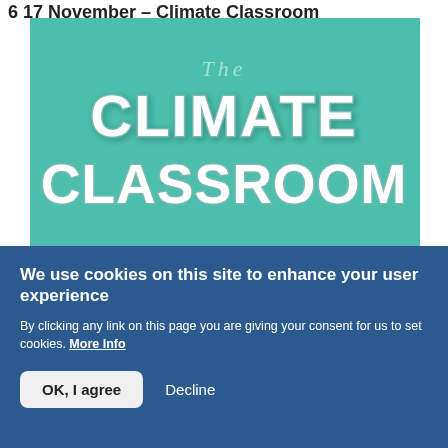6 17 November – Climate Classroom
[Figure (photo): Teal/turquoise background with neon-style white lettering reading 'The CLIMATE CLASSROOM']
We use cookies on this site to enhance your user experience
By clicking any link on this page you are giving your consent for us to set cookies. More Info
OK, I agree   Decline